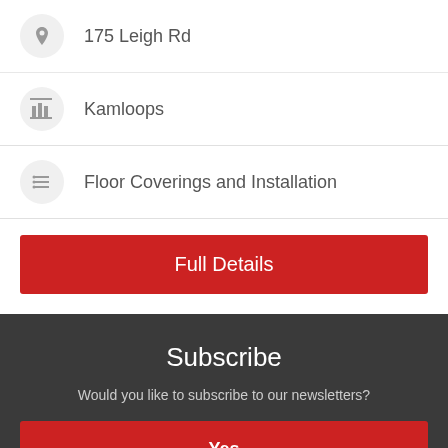175 Leigh Rd
Kamloops
Floor Coverings and Installation
Full Details
Subscribe
Would you like to subscribe to our newsletters?
Yes
No